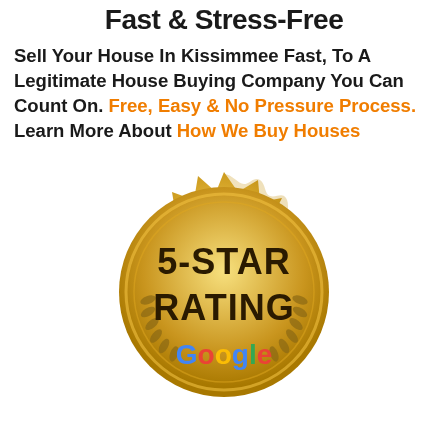Fast & Stress-Free
Sell Your House In Kissimmee Fast, To A Legitimate House Buying Company You Can Count On. Free, Easy & No Pressure Process. Learn More About How We Buy Houses
[Figure (illustration): Gold seal/badge with '5-STAR RATING' text in dark lettering, Google logo in multicolor at the bottom, decorative laurel wreaths and scalloped border, all in gold tones]